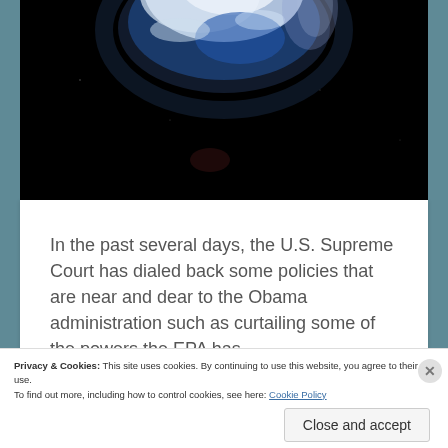[Figure (photo): Dark space background with a partial Earth globe visible at the top, showing blue and white cloud patterns against black space.]
In the past several days, the U.S. Supreme Court has dialed back some policies that are near and dear to the Obama administration such as curtailing some of the powers the EPA has [granted for itself by the President's]...
Privacy & Cookies: This site uses cookies. By continuing to use this website, you agree to their use.
To find out more, including how to control cookies, see here: Cookie Policy
Close and accept